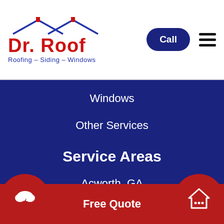[Figure (logo): Dr. Roof logo with house/roof icon and tagline Roofing – Siding – Windows]
Call
Windows
Other Services
Service Areas
Acworth, GA
Alpharetta, GA
Atlanta, GA
Buckhead, GA
Free Quote